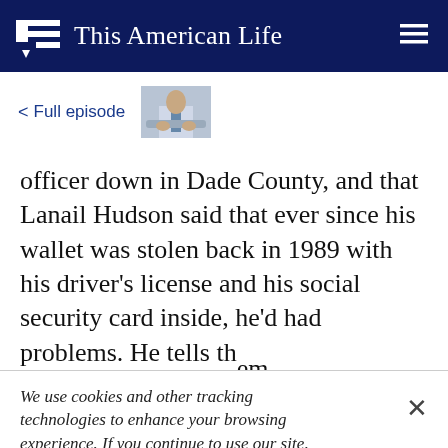This American Life
< Full episode
officer down in Dade County, and that Lanail Hudson said that ever since his wallet was stolen back in 1989 with his driver's license and his social security card inside, he'd had problems. He tells them
We use cookies and other tracking technologies to enhance your browsing experience. If you continue to use our site, you agree to the use of such cookies. For more info, see our privacy policy.